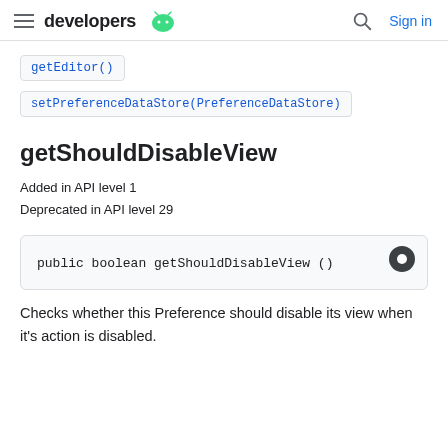developers  Sign in
getEditor()
setPreferenceDataStore(PreferenceDataStore)
getShouldDisableView
Added in API level 1
Deprecated in API level 29
Checks whether this Preference should disable its view when it's action is disabled.